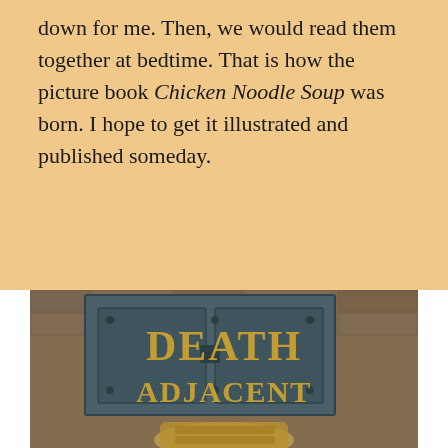down for me. Then, we would read them together at bedtime. That is how the picture book Chicken Noodle Soup was born. I hope to get it illustrated and published someday.
[Figure (photo): Book cover for 'Death Adjacent' showing large golden serif text over a dark teal/slate colored metal vault or cellar door set into a stone brick wall, with what appears to be a mummy or wrapped figure at the bottom.]